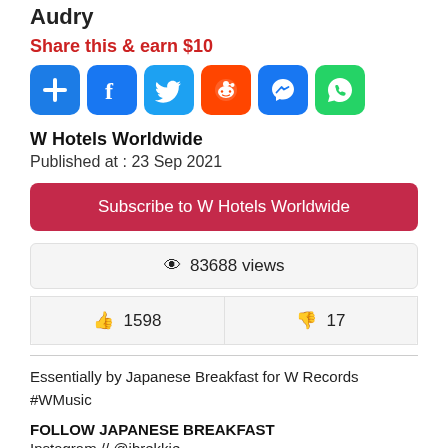Audry
Share this & earn $10
[Figure (infographic): Six social share buttons: add/plus (blue), Facebook (blue), Twitter (blue), Reddit (orange), Messenger (blue), WhatsApp (green)]
W Hotels Worldwide
Published at : 23 Sep 2021
Subscribe to W Hotels Worldwide
83688 views
1598
17
Essentially by Japanese Breakfast for W Records #WMusic
FOLLOW JAPANESE BREAKFAST
Instagram // @jbrekkie -
https://www.instagram.com/jbrekkie/